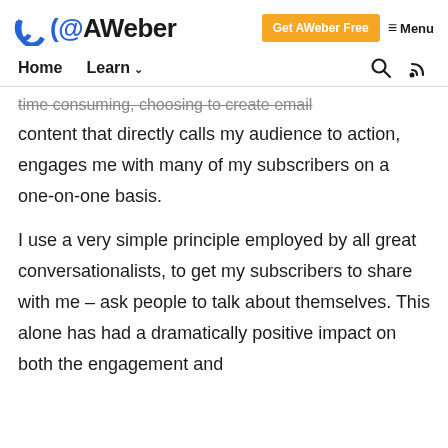AWeber — Get AWeber Free | Menu
Home | Learn
time consuming, choosing to create email content that directly calls my audience to action, engages me with many of my subscribers on a one-on-one basis.
I use a very simple principle employed by all great conversationalists, to get my subscribers to share with me – ask people to talk about themselves. This alone has had a dramatically positive impact on both the engagement and